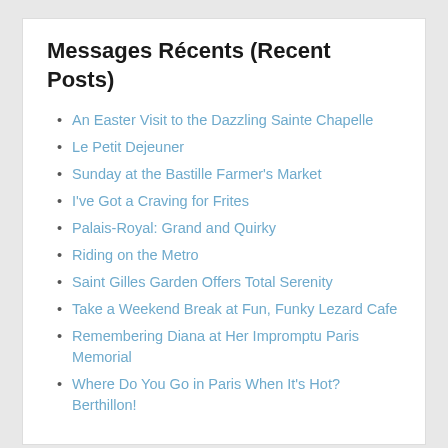Messages Récents (Recent Posts)
An Easter Visit to the Dazzling Sainte Chapelle
Le Petit Dejeuner
Sunday at the Bastille Farmer's Market
I've Got a Craving for Frites
Palais-Royal: Grand and Quirky
Riding on the Metro
Saint Gilles Garden Offers Total Serenity
Take a Weekend Break at Fun, Funky Lezard Cafe
Remembering Diana at Her Impromptu Paris Memorial
Where Do You Go in Paris When It's Hot? Berthillon!
Commentaires Récents